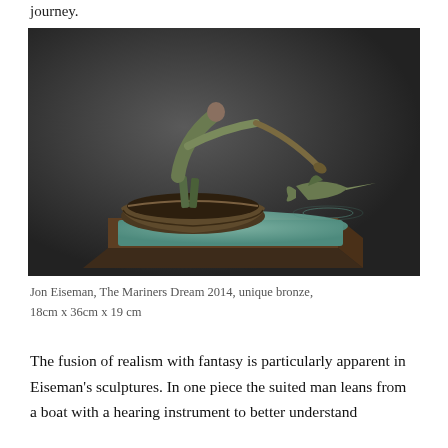journey.
[Figure (photo): A bronze sculpture by Jon Eiseman titled 'The Mariners Dream 2014'. A suited figure leans forward from a small wooden boat, pressing a horn or trumpet-like instrument toward the water where a large fish or swordfish emerges from a teal-colored sea base. The sculpture has green-brown patina on a dark rectangular platform, photographed against a dark grey background.]
Jon Eiseman, The Mariners Dream 2014, unique bronze, 18cm x 36cm x 19 cm
The fusion of realism with fantasy is particularly apparent in Eiseman's sculptures. In one piece the suited man leans from a boat with a hearing instrument to better understand